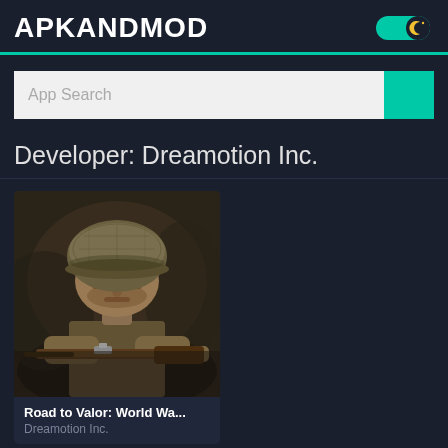APKANDMOD
App Search
Developer: Dreamotion Inc.
[Figure (screenshot): App icon/screenshot showing a WWII soldier in a helmet aiming a rifle, dark moody background]
Road to Valor: World Wa...
Dreamotion Inc.